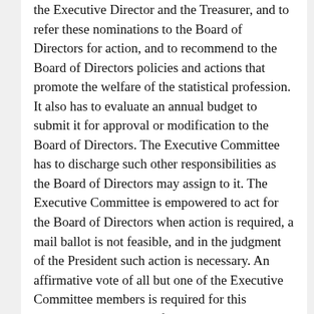the Executive Director and the Treasurer, and to refer these nominations to the Board of Directors for action, and to recommend to the Board of Directors policies and actions that promote the welfare of the statistical profession. It also has to evaluate an annual budget to submit it for approval or modification to the Board of Directors. The Executive Committee has to discharge such other responsibilities as the Board of Directors may assign to it. The Executive Committee is empowered to act for the Board of Directors when action is required, a mail ballot is not feasible, and in the judgment of the President such action is necessary. An affirmative vote of all but one of the Executive Committee members is required for this procedure. The Board of Directors has to send notification within seven days of such an action. This notification has to explain the urgency of the action.